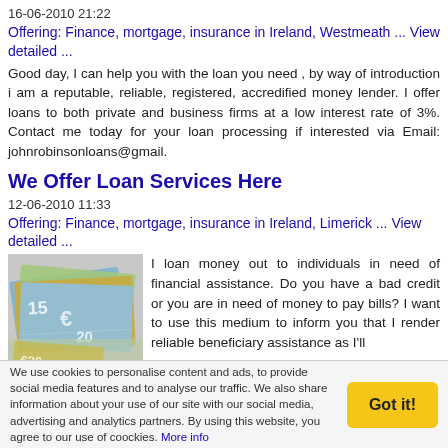16-06-2010 21:22
Offering: Finance, mortgage, insurance in Ireland, Westmeath ... View detailed ...
Good day, I can help you with the loan you need , by way of introduction i am a reputable, reliable, registered, accredified money lender. I offer loans to both private and business firms at a low interest rate of 3%. Contact me today for your loan processing if interested via Email: johnrobinsonloans@gmail.
We Offer Loan Services Here
12-06-2010 11:33
Offering: Finance, mortgage, insurance in Ireland, Limerick ... View detailed ...
[Figure (photo): Photo of Euro banknotes spread out, including a 15 and 20 euro note visible]
I loan money out to individuals in need of financial assistance. Do you have a bad credit or you are in need of money to pay bills? I want to use this medium to inform you that I render reliable beneficiary assistance as I'll
We use cookies to personalise content and ads, to provide social media features and to analyse our traffic. We also share information about your use of our site with our social media, advertising and analytics partners. By using this website, you agree to our use of coockies. More info